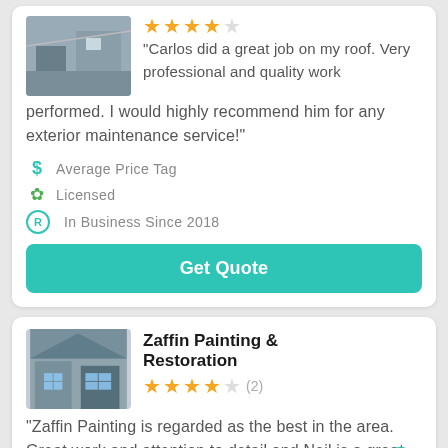“Carlos did a great job on my roof. Very professional and quality work performed. I would highly recommend him for any exterior maintenance service!”
$ Average Price Tag
Licensed
In Business Since 2018
Get Quote
Zaffin Painting & Restoration
(2) stars rating
“Zaffin Painting is regarded as the best in the area. Great work and attention to detail and Neil is a great guy!”